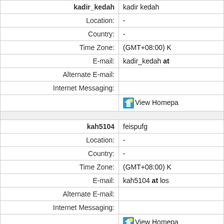| Label | Value |
| --- | --- |
| kadir_kedah | kadir kedah |
| Location: | - |
| Country: | - |
| Time Zone: | (GMT+08:00) K |
| E-mail: | kadir_kedah at |
| Alternate E-mail: |  |
| Internet Messaging: |  |
|  | View Homepa |
|  |  |
| kah5104 | feispufg |
| Location: | - |
| Country: | - |
| Time Zone: | (GMT+08:00) K |
| E-mail: | kah5104 at los |
| Alternate E-mail: |  |
| Internet Messaging: |  |
|  | View Homepa |
|  |  |
| kah5614 | sldmsaldmasld |